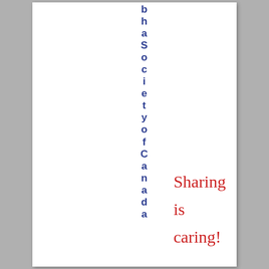bhaS ociety of Canada
Sharing is caring!